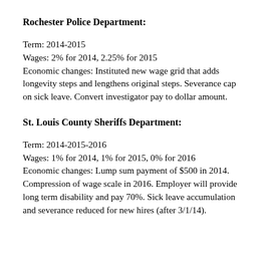Rochester Police Department:
Term: 2014-2015
Wages: 2% for 2014, 2.25% for 2015
Economic changes: Instituted new wage grid that adds longevity steps and lengthens original steps. Severance cap on sick leave. Convert investigator pay to dollar amount.
St. Louis County Sheriffs Department:
Term: 2014-2015-2016
Wages: 1% for 2014, 1% for 2015, 0% for 2016
Economic changes: Lump sum payment of $500 in 2014. Compression of wage scale in 2016. Employer will provide long term disability and pay 70%. Sick leave accumulation and severance reduced for new hires (after 3/1/14).